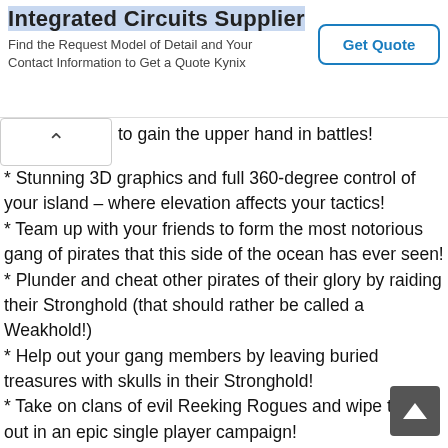[Figure (screenshot): Advertisement banner for Integrated Circuits Supplier — Kynix — with a 'Get Quote' button]
to gain the upper hand in battles!
* Stunning 3D graphics and full 360-degree control of your island – where elevation affects your tactics!
* Team up with your friends to form the most notorious gang of pirates that this side of the ocean has ever seen!
* Plunder and cheat other pirates of their glory by raiding their Stronghold (that should rather be called a Weakhold!)
* Help out your gang members by leaving buried treasures with skulls in their Stronghold!
* Take on clans of evil Reeking Rogues and wipe them out in an epic single player campaign!
* Heed the advice of Francois Le Fu, the helper, to all the worthy pirate captains!
Get hooked and keep on RoGin\!
A stable Internet connection is required for an optimal gameplay experience. Some aspects of the game can also be accessed when offline.
Important Consumer Information. This app: Requires acceptance of EA's Privacy & Cookie Policy, TOS and EULA.